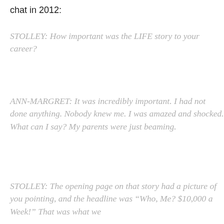chat in 2012:
STOLLEY: How important was the LIFE story to your career?
ANN-MARGRET: It was incredibly important. I had not done anything. Nobody knew me. I was amazed and shocked. What can I say? My parents were just beaming.
STOLLEY: The opening page on that story had a picture of you pointing, and the headline was “Who, Me? $10,000 a Week!” That was what we